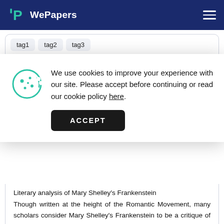WePapers
literature   mythology   creator
[Figure (screenshot): Cookie consent popup with cookie icon, text 'We use cookies to improve your experience with our site. Please accept before continuing or read our cookie policy here.', and an ACCEPT button.]
Literary analysis of Mary Shelley's Frankenstein Though written at the height of the Romantic Movement, many scholars consider Mary Shelley's Frankenstein to be a critique of masculine